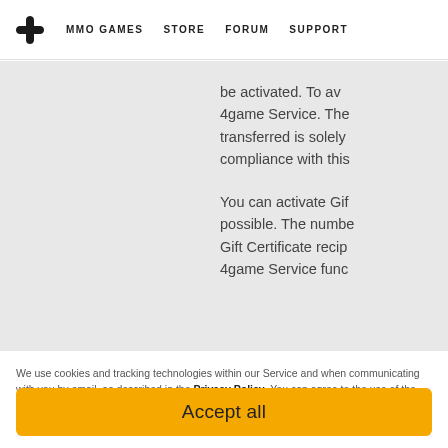4game — MMO GAMES   STORE   FORUM   SUPPORT
be activated. To av... 4game Service. The... transferred is solely... compliance with this...
You can activate Git... possible. The numbe... Gift Certificate reci... 4game Service func...
We use cookies and tracking technologies within our Service and when communicating with you by email, as described in the Privacy Policy. You can agree to the use of the optional cookies named in the Cookie Policy, as well as find out more or change your choice.
Accept all